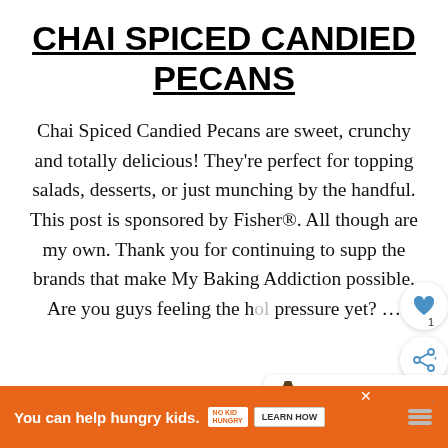CHAI SPICED CANDIED PECANS
Chai Spiced Candied Pecans are sweet, crunchy and totally delicious! They're perfect for topping salads, desserts, or just munching by the handful. This post is sponsored by Fisher®. All thoughts are my own. Thank you for continuing to support the brands that make My Baking Addiction possible. Are you guys feeling the holiday pressure yet? …
[Figure (other): Advertisement banner: orange background, text 'You can help hungry kids.' with No Kid Hungry logo, Learn How button, and close/menu icons. Also overlaying UI elements: heart icon, share icon, and What's Next panel showing Orange Extract.]